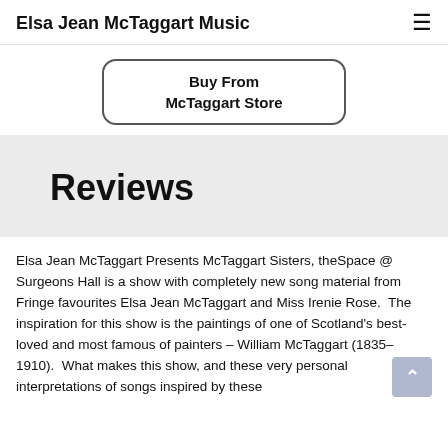Elsa Jean McTaggart Music
[Figure (other): Buy From McTaggart Store button with rounded rectangle border]
Reviews
Elsa Jean McTaggart Presents McTaggart Sisters, theSpace @ Surgeons Hall is a show with completely new song material from Fringe favourites Elsa Jean McTaggart and Miss Irenie Rose.  The inspiration for this show is the paintings of one of Scotland's best-loved and most famous of painters – William McTaggart (1835–1910).  What makes this show, and these very personal interpretations of songs inspired by these